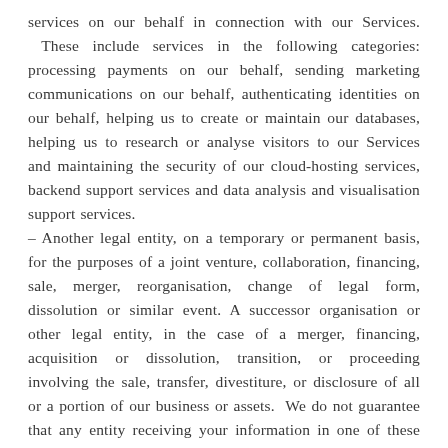services on our behalf in connection with our Services. These include services in the following categories: processing payments on our behalf, sending marketing communications on our behalf, authenticating identities on our behalf, helping us to create or maintain our databases, helping us to research or analyse visitors to our Services and maintaining the security of our cloud-hosting services, backend support services and data analysis and visualisation support services.
– Another legal entity, on a temporary or permanent basis, for the purposes of a joint venture, collaboration, financing, sale, merger, reorganisation, change of legal form, dissolution or similar event. A successor organisation or other legal entity, in the case of a merger, financing, acquisition or dissolution, transition, or proceeding involving the sale, transfer, divestiture, or disclosure of all or a portion of our business or assets. We do not guarantee that any entity receiving your information in one of these transactions will comply with all of the terms of this Policy following such transaction.